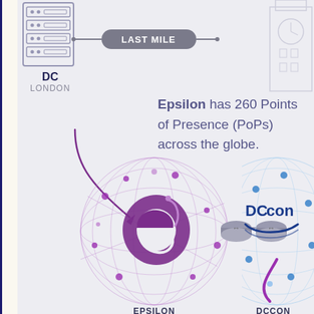[Figure (infographic): Network infographic showing DC London connected via Last Mile to Epsilon Network globe and DCConnect Network globe with router icons between them. Text overlay: Epsilon has 260 Points of Presence (PoPs) across the globe.]
DC
LONDON
Epsilon has 260 Points of Presence (PoPs) across the globe.
EPSILON NETWORK
DCCON NETWO